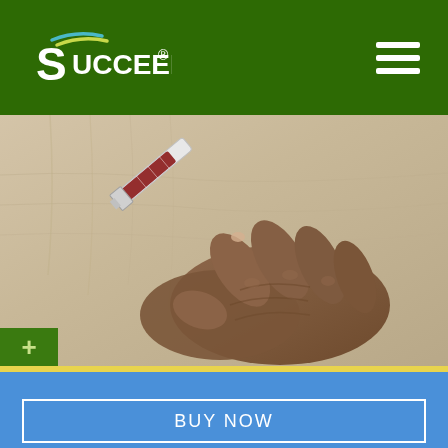SUCCEED
[Figure (photo): Close-up of a human hand holding a syringe/needle being inserted into a horse's coat/skin. Blood visible in syringe. Beige/tan horse hair background.]
Where to Buy SUCCEED® for Horses.
BUY NOW